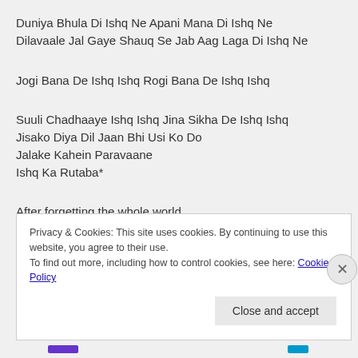Duniya Bhula Di Ishq Ne Apani Mana Di Ishq Ne Dilavaale Jal Gaye Shauq Se Jab Aag Laga Di Ishq Ne
Jogi Bana De Ishq Ishq Rogi Bana De Ishq Ishq
Suuli Chadhaaye Ishq Ishq Jina Sikha De Ishq Ishq
Jisako Diya Dil Jaan Bhi Usi Ko Do
Jalake Kahein Paravaane
Ishq Ka Rutaba*
After forgetting the whole world
Privacy & Cookies: This site uses cookies. By continuing to use this website, you agree to their use.
To find out more, including how to control cookies, see here: Cookie Policy
Close and accept